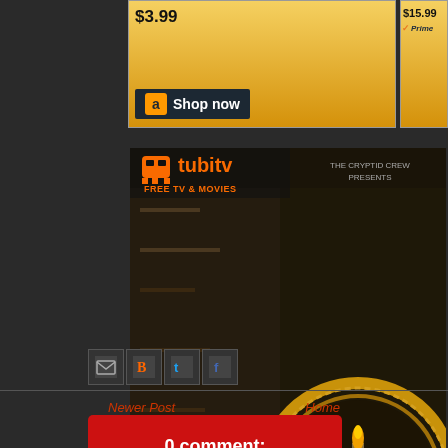[Figure (screenshot): Amazon widget showing price $3.99 with Shop now button]
[Figure (screenshot): Amazon widget showing price $15.99 with Prime badge and Shop now button]
[Figure (screenshot): TubiTV Free TV & Movies advertisement featuring Bazaar Encounters show artwork with dark bazaar scene background]
[Figure (screenshot): Social sharing icons row: email, blogger, twitter, facebook]
Newer Post
Home
0 comment: